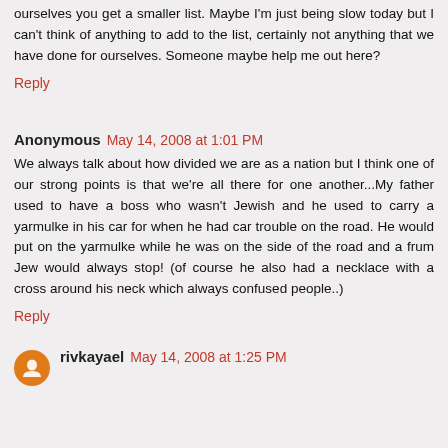ourselves you get a smaller list. Maybe I'm just being slow today but I can't think of anything to add to the list, certainly not anything that we have done for ourselves. Someone maybe help me out here?
Reply
Anonymous May 14, 2008 at 1:01 PM
We always talk about how divided we are as a nation but I think one of our strong points is that we're all there for one another...My father used to have a boss who wasn't Jewish and he used to carry a yarmulke in his car for when he had car trouble on the road. He would put on the yarmulke while he was on the side of the road and a frum Jew would always stop! (of course he also had a necklace with a cross around his neck which always confused people..)
Reply
rivkayael May 14, 2008 at 1:25 PM